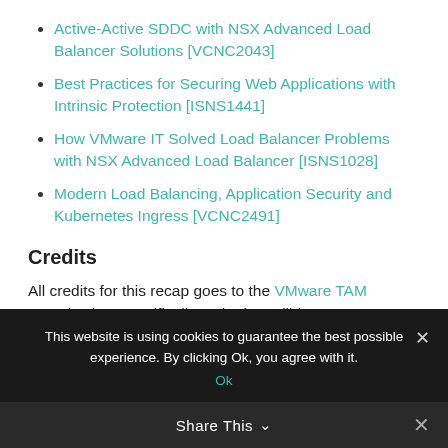Active-Active SDDC with NSX Advanced Load Balancer Solutions [VCNC2043]
Best Practices for Securing Web Applications with Intrinsic Protection [ISNS1441]
How VMware IT Solved Load Balancer Problems with NSX Advanced Load Balancer [ISNS1028]
Modern Load Balancing, Application Security and Kubernetes Ingress [VCNC2491]
Credits
All credits for this recap goes to the VMware TAM organisation, specifically to the incredible BeNeLux NSX
This website is using cookies to guarantee the best possible experience. By clicking Ok, you agree with it.
Share This